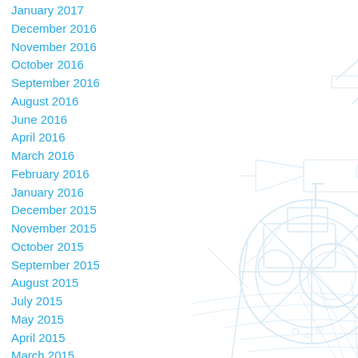[Figure (illustration): Light gray watermark-style illustration of agricultural/industrial machinery and plants in the background]
January 2017
December 2016
November 2016
October 2016
September 2016
August 2016
June 2016
April 2016
March 2016
February 2016
January 2016
December 2015
November 2015
October 2015
September 2015
August 2015
July 2015
May 2015
April 2015
March 2015